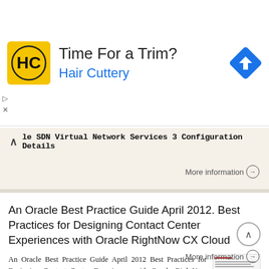[Figure (infographic): Hair Cuttery advertisement banner with logo, 'Time For a Trim?' heading, blue 'Hair Cuttery' subheading, and a blue navigation/directions diamond icon on the right.]
le SDN Virtual Network Services 3 Configuration Details
More information →
An Oracle Best Practice Guide April 2012. Best Practices for Designing Contact Center Experiences with Oracle RightNow CX Cloud
An Oracle Best Practice Guide April 2012 Best Practices for Designing Contact Center Experiences with Oracle RightNow CX Cloud Service Introduction... 1 Understanding the Problem... 2 Addressing the Problem
More information →